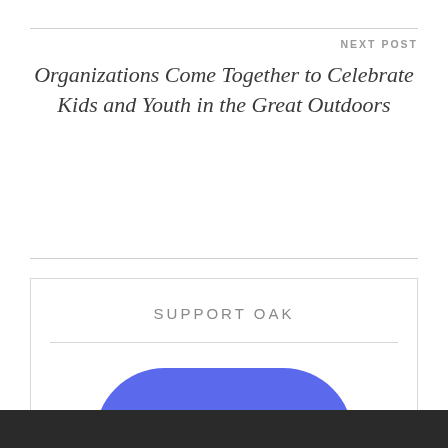NEXT POST
Organizations Come Together to Celebrate Kids and Youth in the Great Outdoors
SUPPORT OAK
[Figure (other): A large rounded blue button with white bold text reading DONATE]